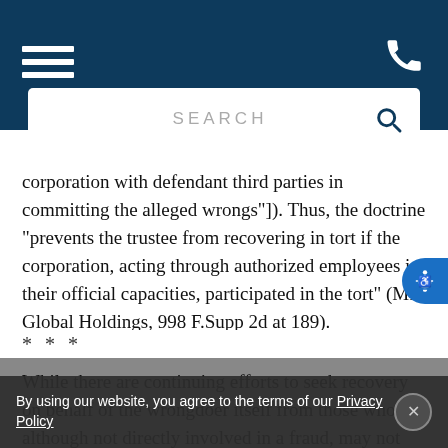[Figure (screenshot): Website header bar with dark blue background, hamburger menu icon on left and phone icon on right]
[Figure (screenshot): Search bar with 'SEARCH' placeholder text and magnifier icon]
corporation with defendant third parties in committing the alleged wrongs"]). Thus, the doctrine “prevents the trustee from recovering in tort if the corporation, acting through authorized employees in their official capacities, participated in the tort” (MF Global Holdings, 998 F.Supp 2d at 189).
* * *
While there are continuing efforts to seek recovery on behalf of the wrongdoer itself from those who, although not directly involved in a fraud, may not have acted prudently or responsibly to uncover or stop it, as shown
By using our website, you agree to the terms of our Privacy Policy